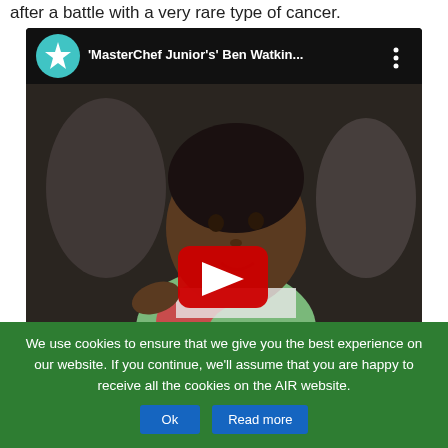after a battle with a very rare type of cancer.
[Figure (screenshot): YouTube video embed showing 'MasterChef Junior's Ben Watkin...' with a thumbnail of a young boy, a YouTube play button overlay, and the YouTube interface header with teal star icon.]
We use cookies to ensure that we give you the best experience on our website. If you continue, we'll assume that you are happy to receive all the cookies on the AIR website. Ok  Read more